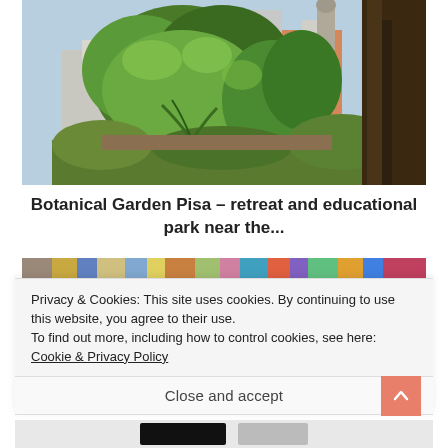[Figure (photo): Garden photo showing lush green trees, ivy-covered walls, terracotta buildings, and a tower or dome in the background, with a large tree trunk on the right — Botanical Garden Pisa]
Botanical Garden Pisa – retreat and educational park near the...
[Figure (photo): Partial view of colorful artwork or printed materials, partially obscured]
Privacy & Cookies: This site uses cookies. By continuing to use this website, you agree to their use.
To find out more, including how to control cookies, see here: Cookie & Privacy Policy
Close and accept